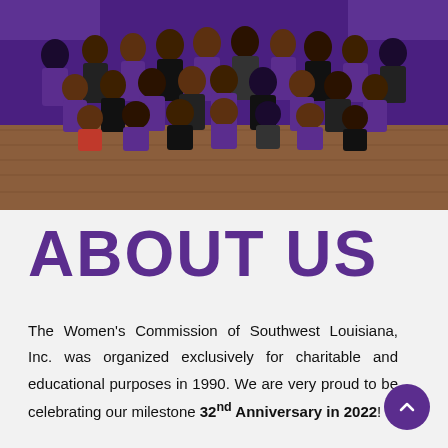[Figure (photo): Group photo of Women's Commission of Southwest Louisiana members wearing purple outfits, posed together indoors with wooden floor background and purple-lit backdrop.]
ABOUT US
The Women's Commission of Southwest Louisiana, Inc. was organized exclusively for charitable and educational purposes in 1990. We are very proud to be celebrating our milestone 32nd Anniversary in 2022!